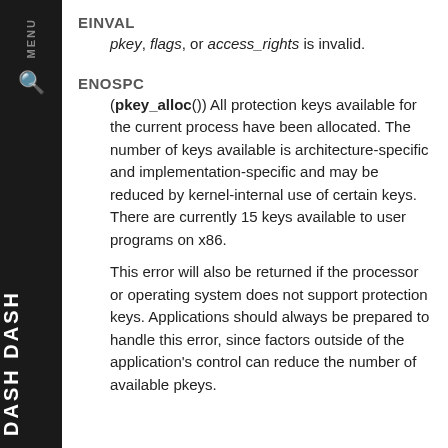EINVAL
pkey, flags, or access_rights is invalid.
ENOSPC
(pkey_alloc()) All protection keys available for the current process have been allocated. The number of keys available is architecture-specific and implementation-specific and may be reduced by kernel-internal use of certain keys. There are currently 15 keys available to user programs on x86.
This error will also be returned if the processor or operating system does not support protection keys. Applications should always be prepared to handle this error, since factors outside of the application's control can reduce the number of available pkeys.